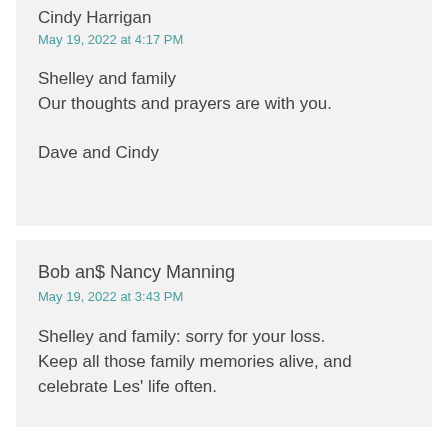Cindy Harrigan
May 19, 2022 at 4:17 PM
Shelley and family
Our thoughts and prayers are with you.

Dave and Cindy
Bob an$ Nancy Manning
May 19, 2022 at 3:43 PM
Shelley and family: sorry for your loss. Keep all those family memories alive, and celebrate Les' life often.